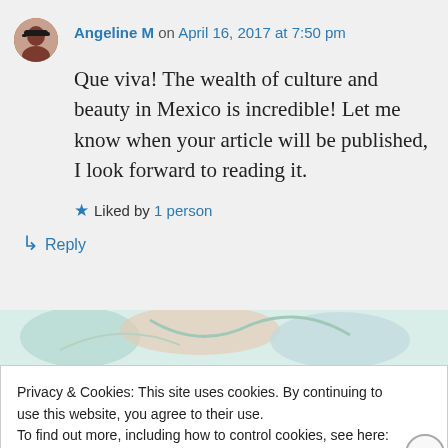Angeline M on April 16, 2017 at 7:50 pm
Que viva! The wealth of culture and beauty in Mexico is incredible! Let me know when your article will be published, I look forward to reading it.
Liked by 1 person
Reply
[Figure (photo): Decorative image strip with colorful pattern visible between comment section and cookie banner]
Privacy & Cookies: This site uses cookies. By continuing to use this website, you agree to their use.
To find out more, including how to control cookies, see here: Cookie Policy
Close and accept